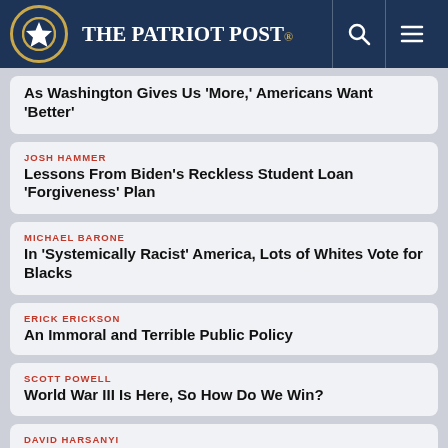The Patriot Post
As Washington Gives Us ‘More,’ Americans Want ‘Better’
JOSH HAMMER
Lessons From Biden’s Reckless Student Loan ‘Forgiveness’ Plan
MICHAEL BARONE
In ‘Systemically Racist’ America, Lots of Whites Vote for Blacks
ERICK ERICKSON
An Immoral and Terrible Public Policy
SCOTT POWELL
World War III Is Here, So How Do We Win?
DAVID HARSANYI
Biden’s Student Loan ‘Forgiveness’ Is an Unjust, Cynical Abuse of Power